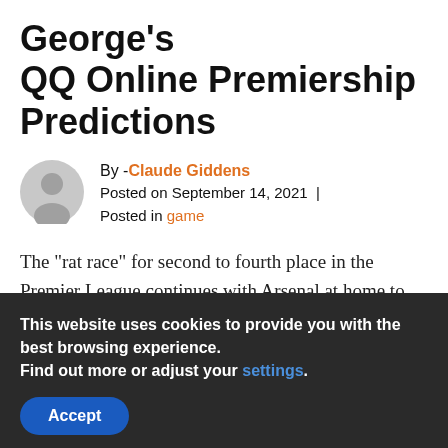George's QQ Online Premiership Predictions
By -Claude Giddens
Posted on September 14, 2021 |
Posted in game
The "rat race" for second to fourth place in the Premier League continues with Arsenal at home to Liverpool,
This website uses cookies to provide you with the best browsing experience.
Find out more or adjust your settings.
Accept